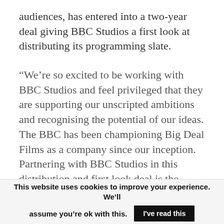audiences, has entered into a two-year deal giving BBC Studios a first look at distributing its programming slate.
“We’re so excited to be working with BBC Studios and feel privileged that they are supporting our unscripted ambitions and recognising the potential of our ideas. The BBC has been championing Big Deal Films as a company since our inception. Partnering with BBC Studios in this distribution and first look deal is the
This website uses cookies to improve your experience. We’ll assume you’re ok with this. I’ve read this